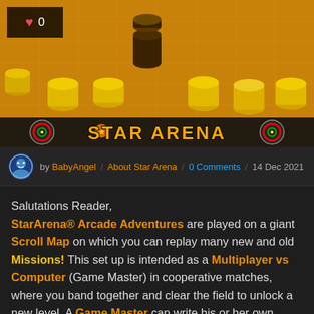[Figure (screenshot): Star Arena board game screenshot showing yellow/orange checker pieces on a grid board. A black heart icon with '0' is overlaid top-left. The bottom bar shows the Star Arena logo with circular emblems on each side and the text 'STAR ARENA' in orange/yellow bold font.]
by BabyAngel / About Star Arena / 0 Comments / 14 Dec 2021
Salutations Reader, StarArena® Arcade Adventures are played on a giant Scroll Map on which you can replay many new and old Missions! This set up is intended as a Multiplayer vs Computer (Game Master) in cooperative matches, where you band together and clear the field to unlock a new level. A Game Master can write his or her own Challenges or follow Campaign Scripts and Mission Manuals.

In the back story it reads; Arcade Adventures are Battle Sims to prepare new cadets for the real deal on Mega War Maps! So expect hordes of NPC's in the form of Blocks & Bosses on your way to make